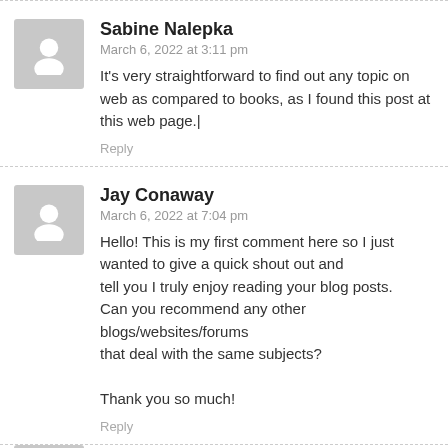Sabine Nalepka
March 6, 2022 at 3:11 pm
It's very straightforward to find out any topic on web as compared to books, as I found this post at this web page.|
Reply
Jay Conaway
March 6, 2022 at 7:04 pm
Hello! This is my first comment here so I just wanted to give a quick shout out and tell you I truly enjoy reading your blog posts. Can you recommend any other blogs/websites/forums that deal with the same subjects?

Thank you so much!
Reply